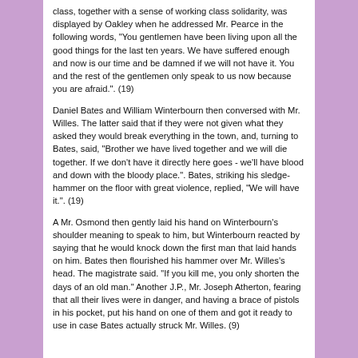class, together with a sense of working class solidarity, was displayed by Oakley when he addressed Mr. Pearce in the following words, "You gentlemen have been living upon all the good things for the last ten years. We have suffered enough and now is our time and be damned if we will not have it. You and the rest of the gentlemen only speak to us now because you are afraid.". (19)
Daniel Bates and William Winterbourn then conversed with Mr. Willes. The latter said that if they were not given what they asked they would break everything in the town, and, turning to Bates, said, "Brother we have lived together and we will die together. If we don't have it directly here goes - we'll have blood and down with the bloody place.". Bates, striking his sledge-hammer on the floor with great violence, replied, "We will have it.". (19)
A Mr. Osmond then gently laid his hand on Winterbourn's shoulder meaning to speak to him, but Winterbourn reacted by saying that he would knock down the first man that laid hands on him. Bates then flourished his hammer over Mr. Willes's head. The magistrate said. "If you kill me, you only shorten the days of an old man." Another J.P., Mr. Joseph Atherton, fearing that all their lives were in danger, and having a brace of pistols in his pocket, put his hand on one of them and got it ready to use in case Bates actually struck Mr. Willes. (9)